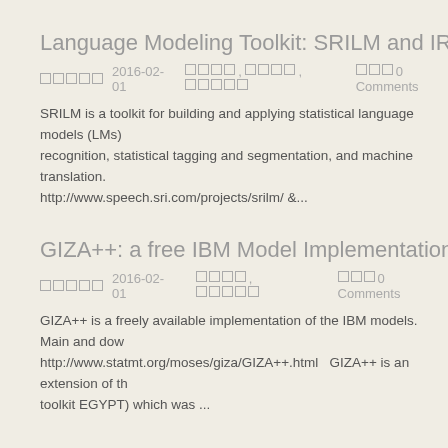Language Modeling Toolkit: SRILM and IRSTL
2016-02-01  [tags], [tags], [tags]  [box]0 Comments
SRILM is a toolkit for building and applying statistical language models (LMs) recognition, statistical tagging and segmentation, and machine translation. http://www.speech.sri.com/projects/srilm/ &...
GIZA++: a free IBM Model Implementation
2016-02-01  [tags], [tags]  [box]0 Comments
GIZA++ is a freely available implementation of the IBM models. Main and download: http://www.statmt.org/moses/giza/GIZA++.html   GIZA++ is an extension of the toolkit EGYPT) which was ...
Word Segmentation